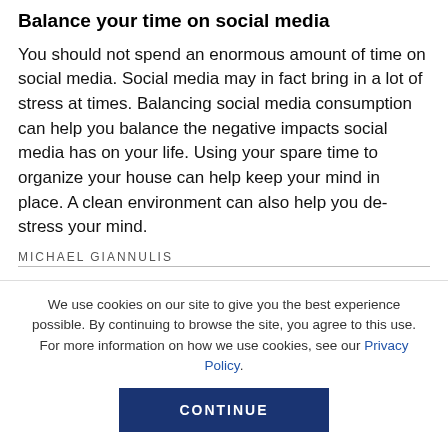Balance your time on social media
You should not spend an enormous amount of time on social media. Social media may in fact bring in a lot of stress at times. Balancing social media consumption can help you balance the negative impacts social media has on your life. Using your spare time to organize your house can help keep your mind in place. A clean environment can also help you de-stress your mind.
MICHAEL GIANNULIS
We use cookies on our site to give you the best experience possible. By continuing to browse the site, you agree to this use. For more information on how we use cookies, see our Privacy Policy.
CONTINUE